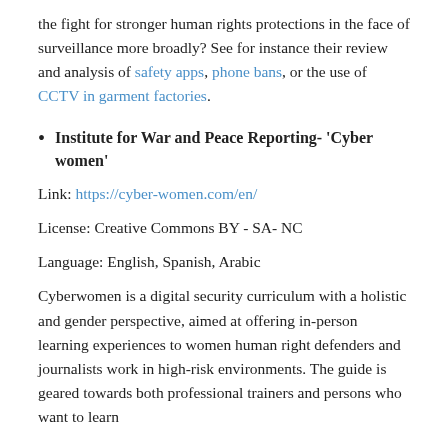the fight for stronger human rights protections in the face of surveillance more broadly? See for instance their review and analysis of safety apps, phone bans, or the use of CCTV in garment factories.
Institute for War and Peace Reporting- 'Cyber women'
Link: https://cyber-women.com/en/
License: Creative Commons BY - SA- NC
Language: English, Spanish, Arabic
Cyberwomen is a digital security curriculum with a holistic and gender perspective, aimed at offering in-person learning experiences to women human right defenders and journalists work in high-risk environments. The guide is geared towards both professional trainers and persons who want to learn